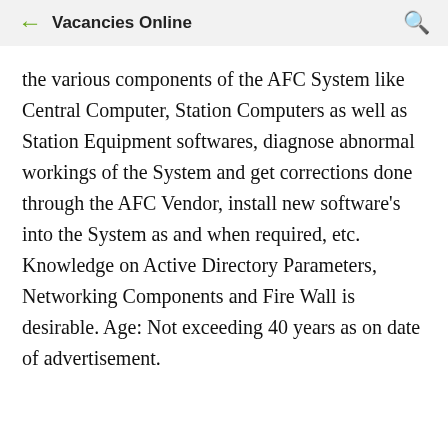Vacancies Online
the various components of the AFC System like Central Computer, Station Computers as well as Station Equipment softwares, diagnose abnormal workings of the System and get corrections done through the AFC Vendor, install new software's into the System as and when required, etc. Knowledge on Active Directory Parameters, Networking Components and Fire Wall is desirable. Age: Not exceeding 40 years as on date of advertisement.